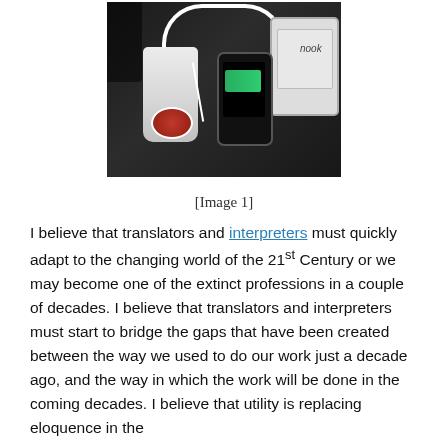[Figure (photo): A photo showing a car cup holder with a portable USB charger (white cylindrical device with a logo), an iPhone showing a green battery charging screen, and a Nook e-reader, all connected with white cables in a dark car interior.]
[Image 1]
I believe that translators and interpreters must quickly adapt to the changing world of the 21st Century or we may become one of the extinct professions in a couple of decades. I believe that translators and interpreters must start to bridge the gaps that have been created between the way we used to do our work just a decade ago, and the way in which the work will be done in the coming decades. I believe that utility is replacing eloquence in the